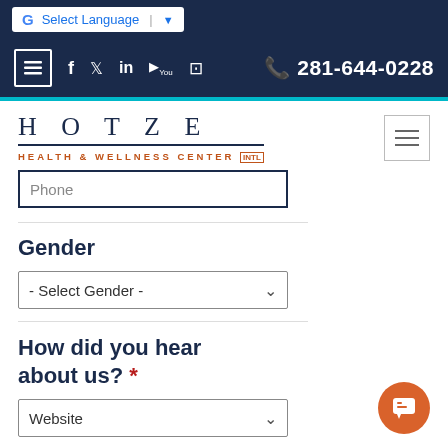G Select Language | ▼
≡  f  𝕏  in  You  📷  📞 281-644-0228
[Figure (logo): Hotze Health & Wellness Center INTL logo]
Phone (input field placeholder)
Gender
- Select Gender - (dropdown)
How did you hear about us? *
Website (dropdown)